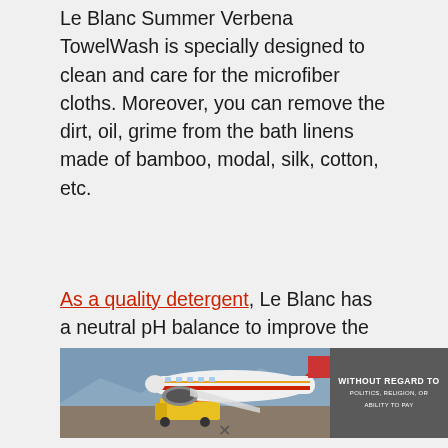Le Blanc Summer Verbena TowelWash is specially designed to clean and care for the microfiber cloths. Moreover, you can remove the dirt, oil, grime from the bath linens made of bamboo, modal, silk, cotton, etc.
As a quality detergent, Le Blanc has a neutral pH balance to improve the
[Figure (photo): Advertisement banner showing an airplane being loaded with cargo on the tarmac, with a dark grey panel on the right reading 'WITHOUT REGARD TO POLITICS, RELIGION, OR ABILITY TO PAY']